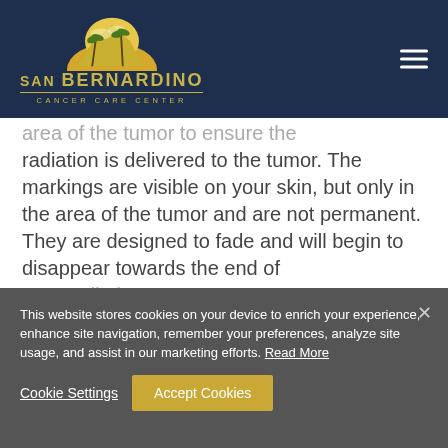[Figure (logo): San Bernardino Cancer Care Center logo with sun/palm tree illustration on dark navy background]
area of the tumor to ensure the radiation is delivered to the tumor. The markings are visible on your skin, but only in the area of the tumor and are not permanent. They are designed to fade and will begin to disappear towards the end of your radiation treatments.
This website stores cookies on your device to enrich your experience, enhance site navigation, remember your preferences, analyze site usage, and assist in our marketing efforts. Read More
Cookie Settings
Accept Cookies